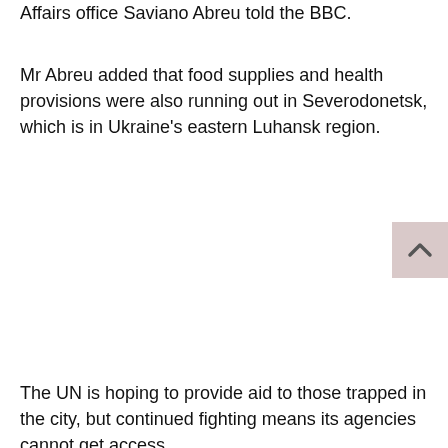Affairs office Saviano Abreu told the BBC.
Mr Abreu added that food supplies and health provisions were also running out in Severodonetsk, which is in Ukraine's eastern Luhansk region.
The UN is hoping to provide aid to those trapped in the city, but continued fighting means its agencies cannot get access...